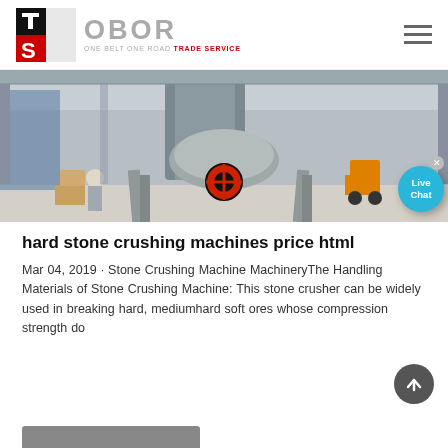OBOR — ONE BELT ONE ROAD TRADE SERVICE
[Figure (photo): Industrial stone crushing machine in a factory warehouse, with grey heavy machinery and a forklift visible in background. A 'Live Chat' bubble appears in the bottom right corner.]
hard stone crushing machines price html
Mar 04, 2019 · Stone Crushing Machine MachineryThe Handling Materials of Stone Crushing Machine: This stone crusher can be widely used in breaking hard, mediumhard soft ores whose compression strength do